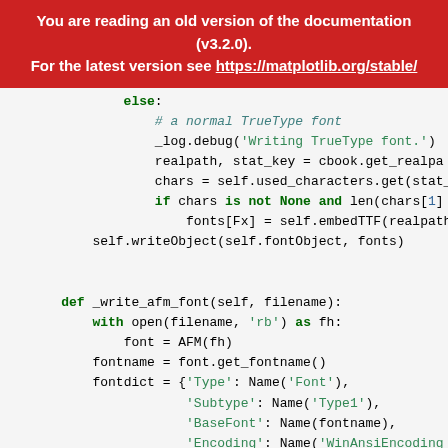You are reading an old version of the documentation (v3.2.0). For the latest version see https://matplotlib.org/stable/
else:
    # a normal TrueType font
    _log.debug('Writing TrueType font.')
    realpath, stat_key = cbook.get_realpa
    chars = self.used_characters.get(stat_
    if chars is not None and len(chars[1]
        fonts[Fx] = self.embedTTF(realpath
self.writeObject(self.fontObject, fonts)

def _write_afm_font(self, filename):
    with open(filename, 'rb') as fh:
        font = AFM(fh)
    fontname = font.get_fontname()
    fontdict = {'Type': Name('Font'),
                'Subtype': Name('Type1'),
                'BaseFont': Name(fontname),
                'Encoding': Name('WinAnsiEncoding
fontdictObject = self.reserveObject('font dic
self.writeObject(fontdictObject, fontdict)
return fontdictObject